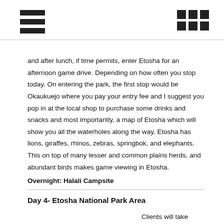and after lunch, if time permits, enter Etosha for an afternoon game drive. Depending on how often you stop today. On entering the park, the first stop would be Okaukuejo where you pay your entry fee and I suggest you pop in at the local shop to purchase some drinks and snacks and most importantly, a map of Etosha which will show you all the waterholes along the way. Etosha has lions, giraffes, rhinos, zebras, springbok, and elephants. This on top of many lesser and common plains herds, and abundant birds makes game viewing in Etosha.
Overnight: Halali Campsite
Day 4- Etosha National Park Area
Clients will take early breakfast and th... on the r...